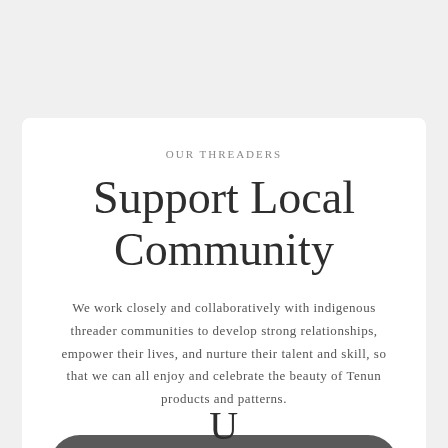OUR THREADERS
Support Local Community
We work closely and collaboratively with indigenous threader communities to develop strong relationships, empower their lives, and nurture their talent and skill, so that we can all enjoy and celebrate the beauty of Tenun products and patterns.
≡  MENU